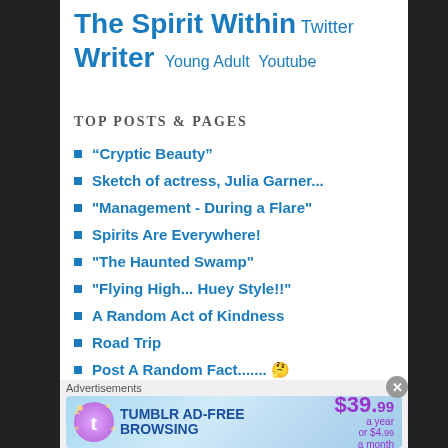The Spirit Within Twitter Writer Young Adult Youtube
TOP POSTS & PAGES
“Cryptic Beauty”
Sketch of actress, Julia Garner...
"Management - During a Flare"
Spirits Are Everywhere!
"The Haunted Swamp"
"Flying High... Huey Style!!"
A Random Act of Kindness
Road Trip
Post A Random Fact....... 🤔
Advertisements
[Figure (other): Tumblr AD-FREE BROWSING advertisement banner. $39.99 a year or $4.99 a month.]